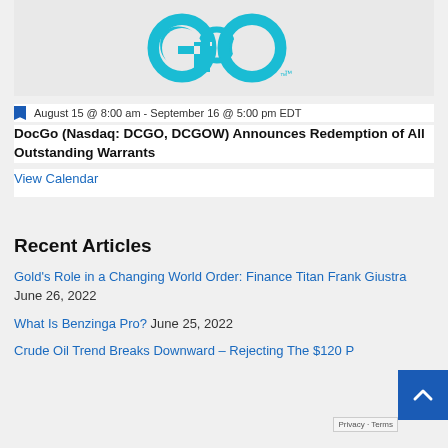[Figure (logo): DocGo 'GO' logo in teal/cyan color on light gray background]
August 15 @ 8:00 am - September 16 @ 5:00 pm EDT
DocGo (Nasdaq: DCGO, DCGOW) Announces Redemption of All Outstanding Warrants
View Calendar
Recent Articles
Gold's Role in a Changing World Order: Finance Titan Frank Giustra June 26, 2022
What Is Benzinga Pro? June 25, 2022
Crude Oil Trend Breaks Downward – Rejecting The $120 P...